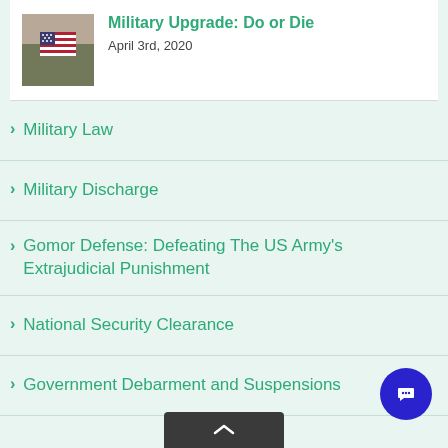[Figure (photo): US military uniform with American flag patch on shoulder]
Military Upgrade: Do or Die
April 3rd, 2020
Military Law
Military Discharge
Gomor Defense: Defeating The US Army's Extrajudicial Punishment
National Security Clearance
Government Debarment and Suspensions